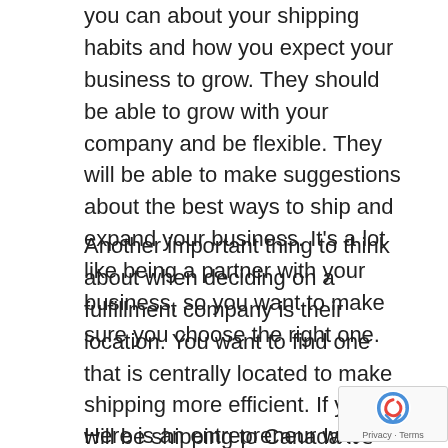you can about your shipping habits and how you expect your business to grow. They should be able to grow with your company and be flexible. They will be able to make suggestions about the best ways to ship and expand your business. It's a lot like being a partner with your business, so you want to make sure you choose the right one.
Another important thing to think about when deciding on a fulfillment company is their location. You want to find one that is centrally located to make shipping more efficient. If you will be shipping to Canada it's important to find a fulfillment company that's located closer to the border.
Here is an entrepreneur who has improved their business by using a fulfillment company: